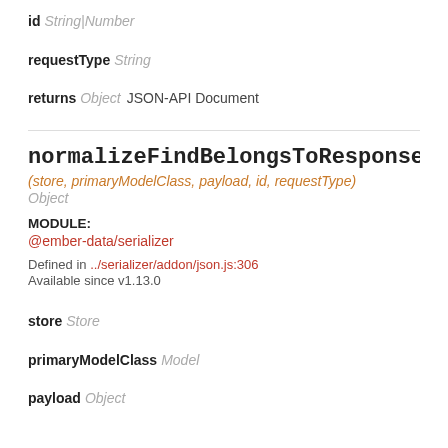id String|Number
requestType String
returns Object  JSON-API Document
normalizeFindBelongsToResponse
(store, primaryModelClass, payload, id, requestType)
Object
MODULE:
@ember-data/serializer
Defined in ../serializer/addon/json.js:306
Available since v1.13.0
store Store
primaryModelClass Model
payload Object